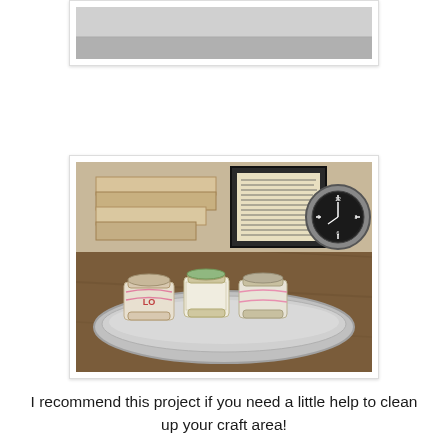[Figure (photo): Partial photo visible at top of page, grey/silver toned image, cropped]
[Figure (photo): Photo of decorated thread spools on a silver oval tray, with wooden blocks, a framed text picture, and an old alarm clock in the background on a wooden surface]
I recommend this project if you need a little help to clean up your craft area!